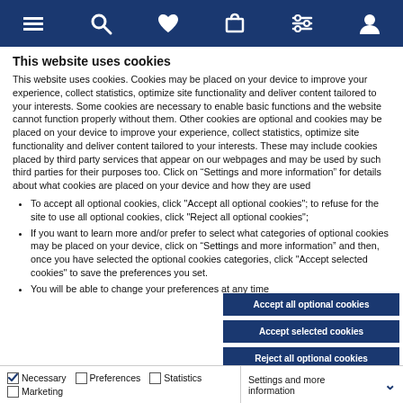Navigation bar with menu, search, wishlist, cart, filter, and account icons
This website uses cookies
This website uses cookies. Cookies may be placed on your device to improve your experience, collect statistics, optimize site functionality and deliver content tailored to your interests. Some cookies are necessary to enable basic functions and the website cannot function properly without them. Other cookies are optional and cookies may be placed on your device to improve your experience, collect statistics, optimize site functionality and deliver content tailored to your interests. These may include cookies placed by third party services that appear on our webpages and may be used by such third parties for their purposes too. Click on “Settings and more information” for details about what cookies are placed on your device and how they are used
To accept all optional cookies, click "Accept all optional cookies"; to refuse for the site to use all optional cookies, click "Reject all optional cookies";
If you want to learn more and/or prefer to select what categories of optional cookies may be placed on your device, click on “Settings and more information” and then, once you have selected the optional cookies categories, click "Accept selected cookies" to save the preferences you set.
You will be able to change your preferences at any time
Accept all optional cookies
Accept selected cookies
Reject all optional cookies
Necessary  Preferences  Statistics  Marketing  Settings and more information